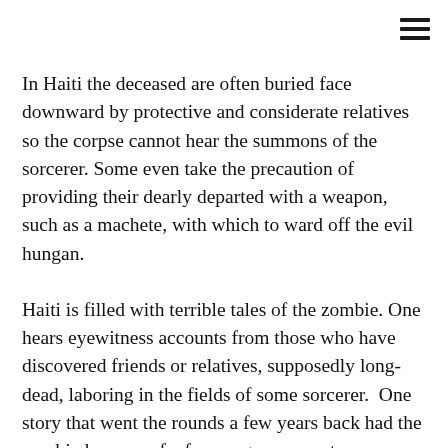In Haiti the deceased are often buried face downward by protective and considerate relatives so the corpse cannot hear the summons of the sorcerer. Some even take the precaution of providing their dearly departed with a weapon, such as a machete, with which to ward off the evil hungan.
Haiti is filled with terrible tales of the zombie. One hears eyewitness accounts from those who have discovered friends or relatives, supposedly long-dead, laboring in the fields of some sorcerer.  One story that went the rounds a few years back had the zombied corpse of a former government administrator–officially dead for fifteen years–as having been recognized toiling for an old hungan in a remote village in the hills.
Upon investigation, many of these zombie often are